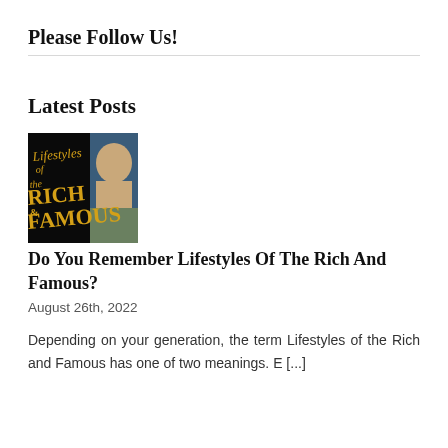Please Follow Us!
Latest Posts
[Figure (photo): Thumbnail image showing a dark background with yellow stylized text reading 'Lifestyles of the RICH & FAMOUS' and a man's face partially visible on the right side]
Do You Remember Lifestyles Of The Rich And Famous?
August 26th, 2022
Depending on your generation, the term Lifestyles of the Rich and Famous has one of two meanings. E [...]